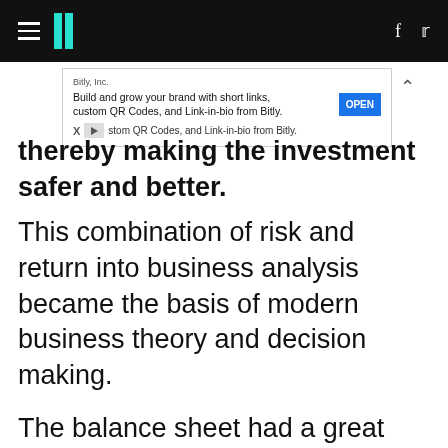HuffPost navigation header with logo, hamburger menu, Facebook and Twitter icons
[Figure (other): Bitly advertisement banner: 'Build and grow your brand with short links, custom QR Codes, and Link-in-bio from Bitly.' with OPEN button]
thereby making the investment safer and better. This combination of risk and return into business analysis became the basis of modern business theory and decision making.
The balance sheet had a great effect as well. This intellectual tool shows how all assets are financed by simplifying accounting into a simple equation: Assets = Liabilities + Owners' Equity. Essentially, the equation shows that everything owned can be financed with either debt or equity, or a combination of both. With this simple intellectual insight, as powerful as E=hv( Planck's